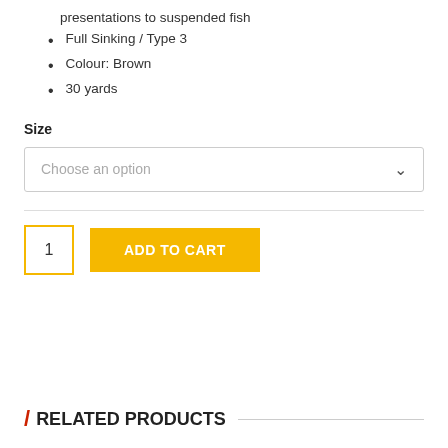presentations to suspended fish
Full Sinking / Type 3
Colour: Brown
30 yards
Size
Choose an option
1  ADD TO CART
/ RELATED PRODUCTS